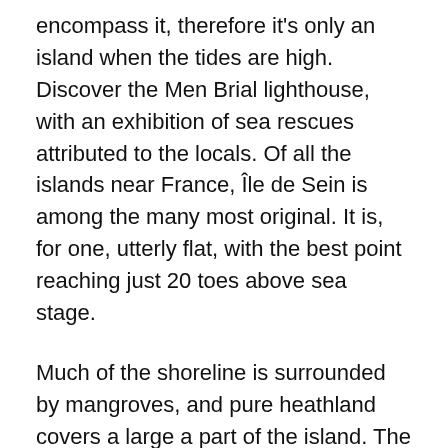encompass it, therefore it's only an island when the tides are high. Discover the Men Brial lighthouse, with an exhibition of sea rescues attributed to the locals. Of all the islands near France, Île de Sein is among the many most original. It is, for one, utterly flat, with the best point reaching just 20 toes above sea stage.
Much of the shoreline is surrounded by mangroves, and pure heathland covers a large a part of the island. The highest point is Mount Wellington, ninety six metres above sea stage. There are two settlements, Tankerton and Fairhaven, on the western aspect of the island. Napoleon spent his last days on French soil inside the idyllic surrounds of Aix Island, from the 12th to the fifteenth of July in 1815, earlier than he was sent into exile. Today, the tiny island is given over to walkers and cyclists, with a small population of yr-spherical residents permanently having fun with the gradual-paced lifestyle